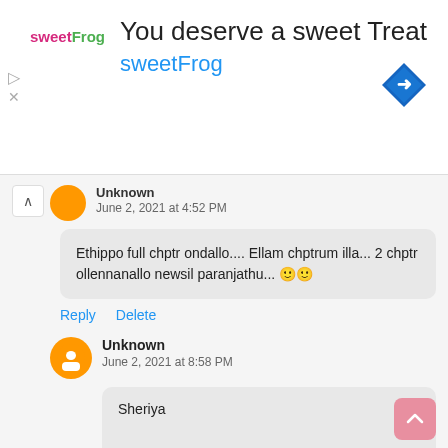[Figure (screenshot): SweetFrog advertisement banner with logo, 'You deserve a sweet Treat' headline, 'sweetFrog' brand name in blue, and navigation icon]
Unknown
June 2, 2021 at 4:52 PM
Ethippo full chptr ondallo.... Ellam chptrum illa... 2 chptr ollennanallo newsil paranjathu... 🙂🙂
Reply    Delete
Unknown
June 2, 2021 at 8:58 PM
Sheriya
Delete